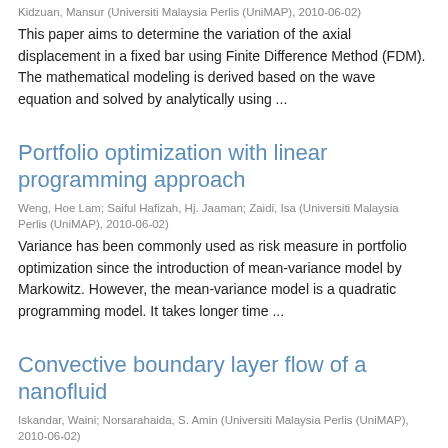Kidzuan, Mansur (Universiti Malaysia Perlis (UniMAP), 2010-06-02)
This paper aims to determine the variation of the axial displacement in a fixed bar using Finite Difference Method (FDM). The mathematical modeling is derived based on the wave equation and solved by analytically using ...
Portfolio optimization with linear programming approach
Weng, Hoe Lam; Saiful Hafizah, Hj. Jaaman; Zaidi, Isa (Universiti Malaysia Perlis (UniMAP), 2010-06-02)
Variance has been commonly used as risk measure in portfolio optimization since the introduction of mean-variance model by Markowitz. However, the mean-variance model is a quadratic programming model. It takes longer time ...
Convective boundary layer flow of a nanofluid
Iskandar, Waini; Norsarahaida, S. Amin (Universiti Malaysia Perlis (UniMAP), 2010-06-02)